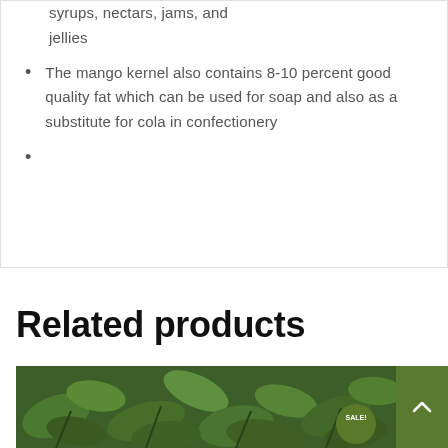syrups, nectars, jams, and jellies
The mango kernel also contains 8-10 percent good quality fat which can be used for soap and also as a substitute for cola in confectionery
Related products
[Figure (photo): Green leafy plant product photo with SALE! badge overlay]